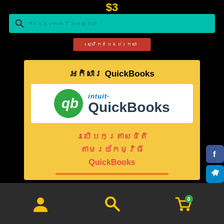$3
[Figure (screenshot): Teal search bar with magnifying glass icon and Khmer placeholder text]
[Figure (screenshot): Red button with Khmer text]
[Figure (screenshot): Yellow card with Khmer title 'ฉกិសារ QuickBooks', Intuit QuickBooks logo, and Khmer subtitle text in red]
[Figure (screenshot): Social sharing icons: Facebook, Telegram, Messenger, LinkedIn on the right side]
[Figure (screenshot): Bottom navigation bar with user, search, and cart icons]